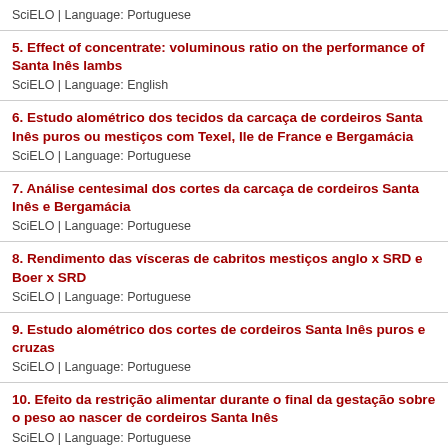SciELO | Language: Portuguese
5. Effect of concentrate: voluminous ratio on the performance of Santa Inês lambs
SciELO | Language: English
6. Estudo alométrico dos tecidos da carcaça de cordeiros Santa Inês puros ou mestiços com Texel, Ile de France e Bergamácia
SciELO | Language: Portuguese
7. Análise centesimal dos cortes da carcaça de cordeiros Santa Inês e Bergamácia
SciELO | Language: Portuguese
8. Rendimento das vísceras de cabritos mestiços anglo x SRD e Boer x SRD
SciELO | Language: Portuguese
9. Estudo alométrico dos cortes de cordeiros Santa Inês puros e cruzas
SciELO | Language: Portuguese
10. Efeito da restrição alimentar durante o final da gestação sobre o peso ao nascer de cordeiros Santa Inês
SciELO | Language: Portuguese
11. Estudo das curvas de crescimento de cordeiros das raças santa inês e bergamácia considerando heterogeneidade de variâncias